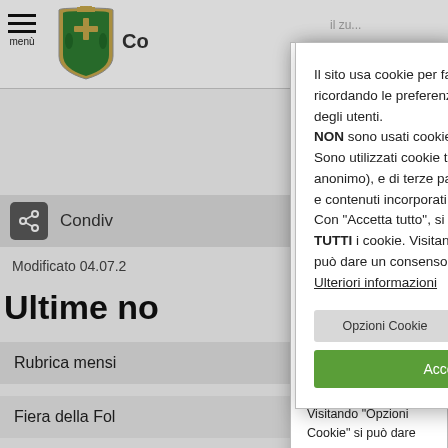[Figure (screenshot): Italian municipal government website header with hamburger menu, coat of arms logo, and site title starting with 'Co']
[Figure (screenshot): Share button bar with share icon and 'Condivi...' text]
Modificato 04.07.2...
Ultime no...
Rubrica mensi...
Fiera della Fol...
Albinea ha rico... furono fucilati...
Il sito usa cookie per facilitare la navigazione ricordando le preferenze e le precedenti visite degli utenti. NON sono usati cookie di profilazione. Sono utilizzati cookie tecnici, analitici (IP anonimo), e di terze parti legati a servizi esterni e contenuti incorporati. Con "Accetta tutto", si acconsente all'uso di TUTTI i cookie. Visitando "Opzioni Cookie" si può dare un consenso differenziato. Ulteriori informazioni
Opzioni Cookie
Rifiuta tutti
Accetta tutti